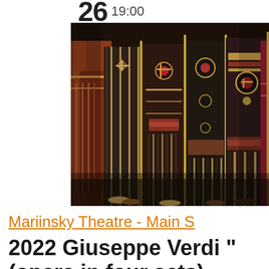26 19:00
[Figure (photo): Opera performers in elaborate Ancient Egyptian costumes on stage, wearing ornate headdresses and robes, holding tall golden staffs, photographed from mid-torso down]
Mariinsky Theatre - Main S
2022 Giuseppe Verdi " (opera in four acts)